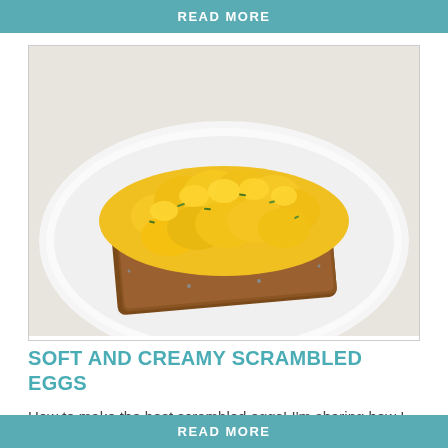READ MORE
[Figure (photo): Scrambled eggs on toast served on a white plate, garnished with chives]
SOFT AND CREAMY SCRAMBLED EGGS
How to make the best scrambled eggs! I'm sharing how I make them in my own kitchen so that the eggs are soft, creamy and delicious. Jump to…
READ MORE